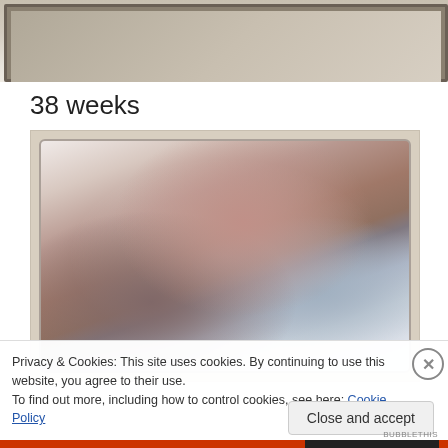[Figure (photo): Top portion of a photo showing what appears to be a framed picture or mirror on a surface, cropped at the top of the page]
38 weeks
[Figure (photo): A blurry close-up selfie photo of a pregnant person showing their belly, wearing a dark top, with light/white blurring around the edges. The photo is in a polaroid-style frame with beige/cream border.]
Privacy & Cookies: This site uses cookies. By continuing to use this website, you agree to their use.
To find out more, including how to control cookies, see here: Cookie Policy
Close and accept